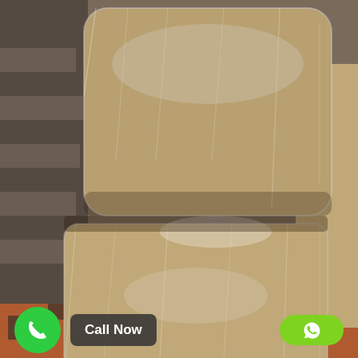[Figure (photo): Two large pieces of furniture (sofas/chairs) wrapped in clear plastic stretch wrap/film stacked on top of each other, placed on a tiled floor with terracotta and dark tiles. Storage unit or truck interior visible in background.]
Call Now